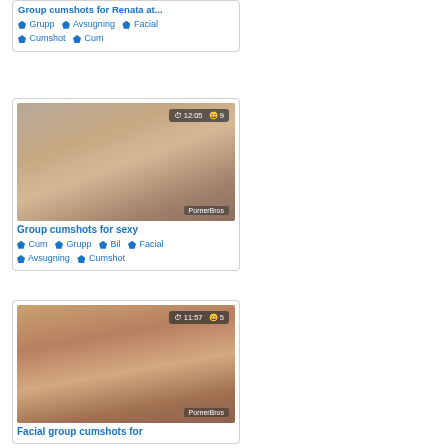Group cumshots for Renata at ... ♦ Grupp ♦ Avsugning ♦ Facial ♦ Cumshot ♦ Cum
[Figure (photo): Thumbnail image with overlay showing 12:05 duration and 9 views, PornerBros watermark]
Group cumshots for sexy
♦ Cum ♦ Grupp ♦ Bil ♦ Facial ♦ Avsugning ♦ Cumshot
[Figure (photo): Thumbnail image with overlay showing 11:57 duration and 5 views, PornerBros watermark]
Facial group cumshots for